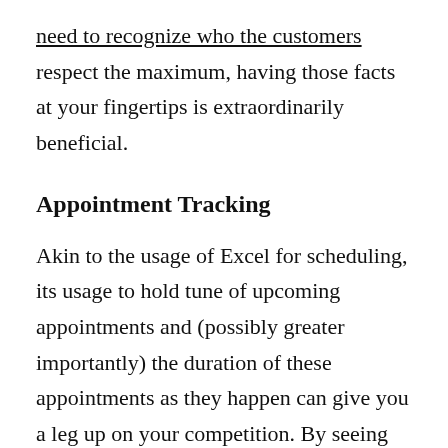need to recognize who the customers respect the maximum, having those facts at your fingertips is extraordinarily beneficial.
Appointment Tracking
Akin to the usage of Excel for scheduling, its usage to hold tune of upcoming appointments and (possibly greater importantly) the duration of these appointments as they happen can give you a leg up on your competition. By seeing now not handiest when a consumer came in, but how long they spent there for a selected method, you could better estimate within the future how a lot enterprise you can take care of — and who may want to work a touch